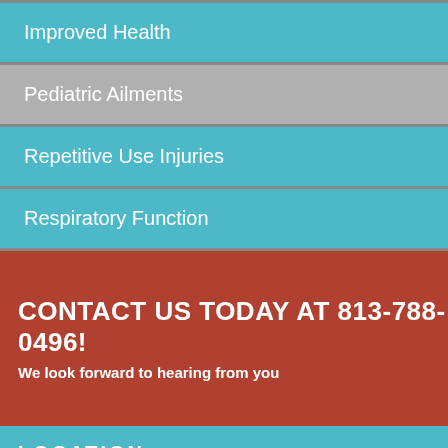Improved Health
Pediatric Ailments
Repetitive Use Injuries
Respiratory Function
CONTACT US TODAY AT 813-788-0496!
We look forward to hearing from you
LOCATION